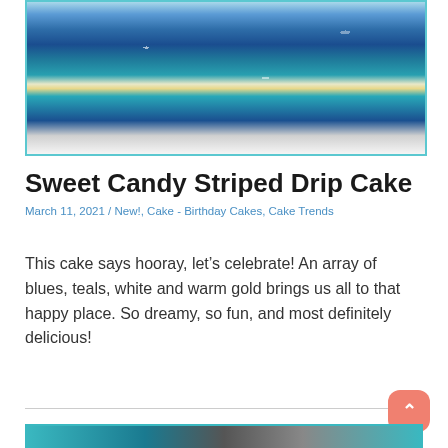[Figure (photo): A striped drip cake decorated with blue, teal, white and gold stripes, candy balls, pearls, and decorative elements on a white surface]
Sweet Candy Striped Drip Cake
March 11, 2021 / New!, Cake - Birthday Cakes, Cake Trends
This cake says hooray, let’s celebrate! An array of blues, teals, white and warm gold brings us all to that happy place. So dreamy, so fun, and most definitely delicious!
[Figure (photo): Partial view of another cake image at the bottom of the page]